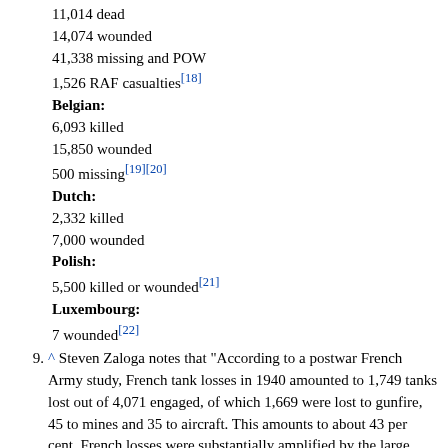11,014 dead
14,074 wounded
41,338 missing and POW
1,526 RAF casualties[18]
Belgian:
6,093 killed
15,850 wounded
500 missing[19][20]
Dutch:
2,332 killed
7,000 wounded
Polish:
5,500 killed or wounded[21]
Luxembourg:
7 wounded[22]
9. ^ Steven Zaloga notes that "According to a postwar French Army study, French tank losses in 1940 amounted to 1,749 tanks lost out of 4,071 engaged, of which 1,669 were lost to gunfire, 45 to mines and 35 to aircraft. This amounts to about 43 per cent. French losses were substantially amplified by the large numbers of tanks that were abandoned or scuttled by their crews".[5]
10. ^ Jonathan Fennell notes "Losses 'included 180,000 rifles, 10,700 Bren guns, 509 two-pounder anti-tank guns, 509